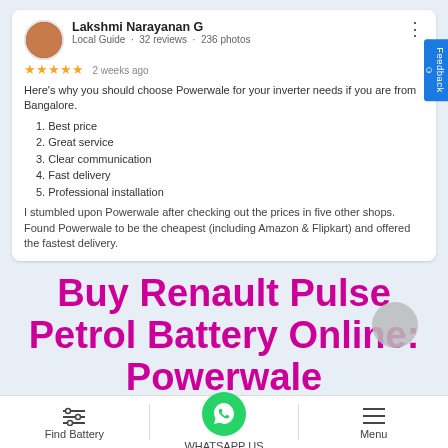[Figure (screenshot): Google review card from Lakshmi Narayanan G, Local Guide, 32 reviews, 236 photos, 5 stars, 2 weeks ago]
Here's why you should choose Powerwale for your inverter needs if you are from Bangalore.
1. Best price
2. Great service
3. Clear communication
4. Fast delivery
5. Professional installation
I stumbled upon Powerwale after checking out the prices in five other shops. Found Powerwale to be the cheapest (including Amazon & Flipkart) and offered the fastest delivery.
Buy Renault Pulse Petrol Battery Online: Powerwale
Warranty in Details*
*F = Free of Cost Replacement
*P = New Battery at Pro-rata Warranty(Discounts will be applicable upon the MRP of New Battery Purchase. For More details, Pls refer Company Warranty Card for details,